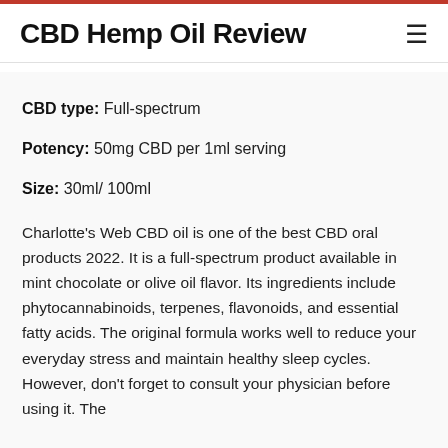CBD Hemp Oil Review
CBD type: Full-spectrum
Potency: 50mg CBD per 1ml serving
Size: 30ml/ 100ml
Charlotte's Web CBD oil is one of the best CBD oral products 2022. It is a full-spectrum product available in mint chocolate or olive oil flavor. Its ingredients include phytocannabinoids, terpenes, flavonoids, and essential fatty acids. The original formula works well to reduce your everyday stress and maintain healthy sleep cycles. However, don't forget to consult your physician before using it. The